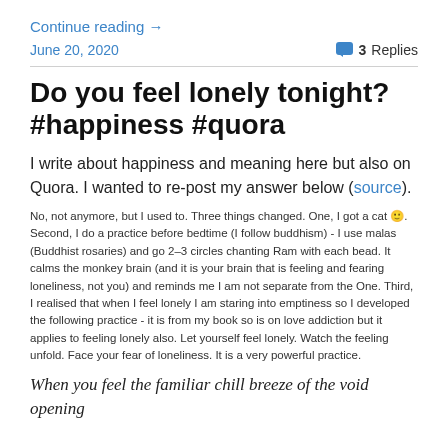Continue reading →
June 20, 2020    💬 3 Replies
Do you feel lonely tonight? #happiness #quora
I write about happiness and meaning here but also on Quora. I wanted to re-post my answer below (source).
No, not anymore, but I used to. Three things changed. One, I got a cat 🙂. Second, I do a practice before bedtime (I follow buddhism) - I use malas (Buddhist rosaries) and go 2–3 circles chanting Ram with each bead. It calms the monkey brain (and it is your brain that is feeling and fearing loneliness, not you) and reminds me I am not separate from the One. Third, I realised that when I feel lonely I am staring into emptiness so I developed the following practice - it is from my book so is on love addiction but it applies to feeling lonely also. Let yourself feel lonely. Watch the feeling unfold. Face your fear of loneliness. It is a very powerful practice.
When you feel the familiar chill breeze of the void opening